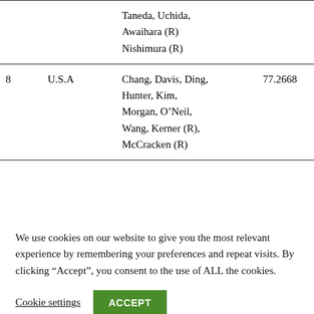|  | Country | Members | Val1 | Val2 |
| --- | --- | --- | --- | --- |
|  |  | Taneda, Uchida, Awaihara (R) Nishimura (R) |  |  |
| 8 | U.S.A | Chang, Davis, Ding, Hunter, Kim, Morgan, O’Neil, Wang, Kerner (R), McCracken (R) | 77.2668 | 74.58 |
We use cookies on our website to give you the most relevant experience by remembering your preferences and repeat visits. By clicking “Accept”, you consent to the use of ALL the cookies.
Cookie settings   ACCEPT